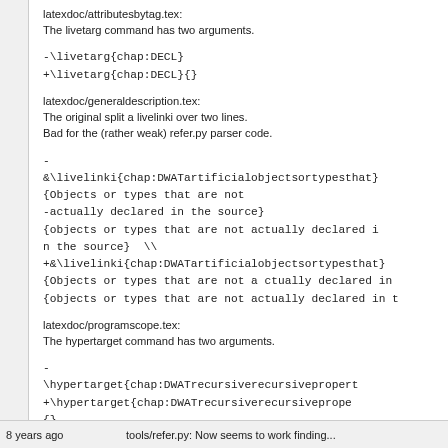latexdoc/attributesbytag.tex:
The livetarg command has two arguments.
-\livetarg{chap:DECL}
+\livetarg{chap:DECL}{}
latexdoc/generaldescription.tex:
The original split a livelinki over two lines.
Bad for the (rather weak) refer.py parser code.
-
&\livelinki{chap:DWATartificialobjectsortypesthat}
{Objects or types that are not
-actually declared in the source}
{objects or types that are not actually declared i
n the source}  \\
+&\livelinki{chap:DWATartificialobjectsortypesthat}
{Objects or types that are not a ctually declared in
{objects or types that are not actually declared in t
latexdoc/programscope.tex:
The hypertarget command has two arguments.
-
\hypertarget{chap:DWATrecursiverecursivepropert
+\hypertarget{chap:DWATrecursiverecursiveprope
{}
8 years ago          tools/refer.py: Now seems to work finding...